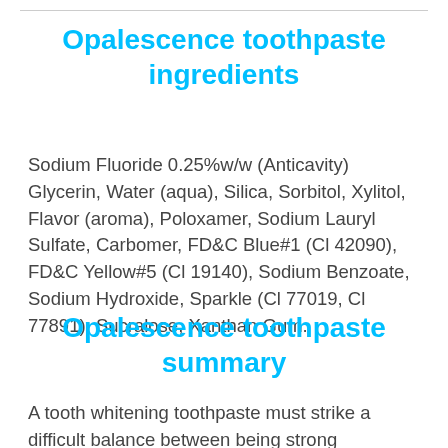Opalescence toothpaste ingredients
Sodium Fluoride 0.25%w/w (Anticavity) Glycerin, Water (aqua), Silica, Sorbitol, Xylitol, Flavor (aroma), Poloxamer, Sodium Lauryl Sulfate, Carbomer, FD&C Blue#1 (Cl 42090), FD&C Yellow#5 (Cl 19140), Sodium Benzoate, Sodium Hydroxide, Sparkle (Cl 77019, Cl 77891), Sucralose, Xanthan Gum.
Opalescence toothpaste summary
A tooth whitening toothpaste must strike a difficult balance between being strong